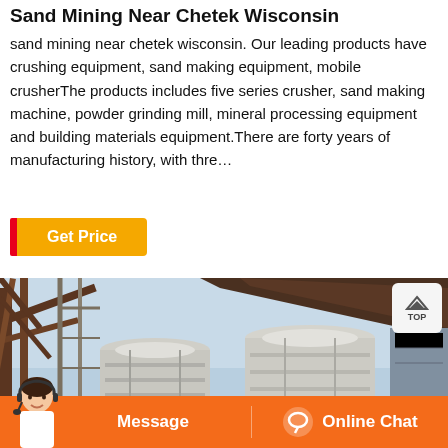Sand Mining Near Chetek Wisconsin
sand mining near chetek wisconsin. Our leading products have crushing equipment, sand making equipment, mobile crusherThe products includes five series crusher, sand making machine, powder grinding mill, mineral processing equipment and building materials equipment.There are forty years of manufacturing history, with thre…
Get Price
[Figure (photo): Industrial mining/crushing equipment facility with large cylindrical machines, steel scaffolding, and workers in red gear visible in background. Outdoor industrial site with blue sky.]
Message   Online Chat